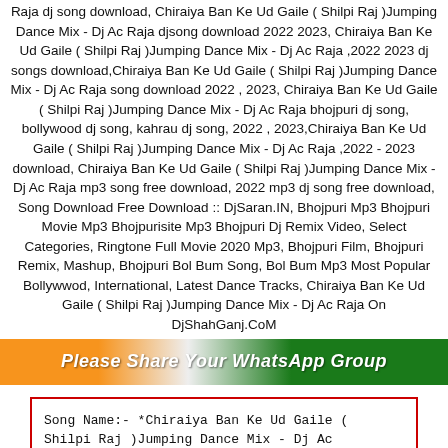Raja dj song download, Chiraiya Ban Ke Ud Gaile ( Shilpi Raj )Jumping Dance Mix - Dj Ac Raja djsong download 2022 2023, Chiraiya Ban Ke Ud Gaile ( Shilpi Raj )Jumping Dance Mix - Dj Ac Raja ,2022 2023 dj songs download,Chiraiya Ban Ke Ud Gaile ( Shilpi Raj )Jumping Dance Mix - Dj Ac Raja song download 2022 , 2023, Chiraiya Ban Ke Ud Gaile ( Shilpi Raj )Jumping Dance Mix - Dj Ac Raja bhojpuri dj song, bollywood dj song, kahrau dj song, 2022 , 2023,Chiraiya Ban Ke Ud Gaile ( Shilpi Raj )Jumping Dance Mix - Dj Ac Raja ,2022 - 2023 download, Chiraiya Ban Ke Ud Gaile ( Shilpi Raj )Jumping Dance Mix - Dj Ac Raja mp3 song free download, 2022 mp3 dj song free download, Song Download Free Download :: DjSaran.IN, Bhojpuri Mp3 Bhojpuri Movie Mp3 Bhojpurisite Mp3 Bhojpuri Dj Remix Video, Select Categories, Ringtone Full Movie 2020 Mp3, Bhojpuri Film, Bhojpuri Remix, Mashup, Bhojpuri Bol Bum Song, Bol Bum Mp3 Most Popular Bollywwod, International, Latest Dance Tracks, Chiraiya Ban Ke Ud Gaile ( Shilpi Raj )Jumping Dance Mix - Dj Ac Raja On DjShahGanj.CoM
Please Share Your WhatsApp Group
| Song Name:- *Chiraiya Ban Ke Ud Gaile ( Shilpi Raj )Jumping Dance Mix - Dj Ac Raja* |
| Music:- *Dj Ac Raja 2022 Dj Song * |
| Size:- *14.24MB* |